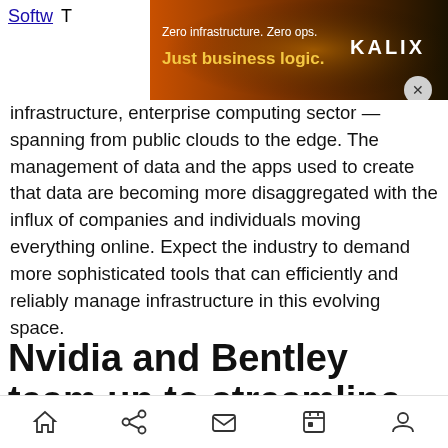Softw... infra... T ...ise computing sector — spanning from public clouds to the edge. The management of data and the apps used to create that data are becoming more disaggregated with the influx of companies and individuals moving everything online. Expect the industry to demand more sophisticated tools that can efficiently and reliably manage infrastructure in this evolving space.
[Figure (screenshot): Advertisement banner: dark orange/brown gradient background with radial light pattern. Text reads 'Zero infrastructure. Zero ops. Just business logic.' with KALIX logo in white on the right. Close button (X) visible at bottom right of banner.]
Nvidia and Bentley team up to streamline U.S.
Home Share Mail Calendar Profile icons